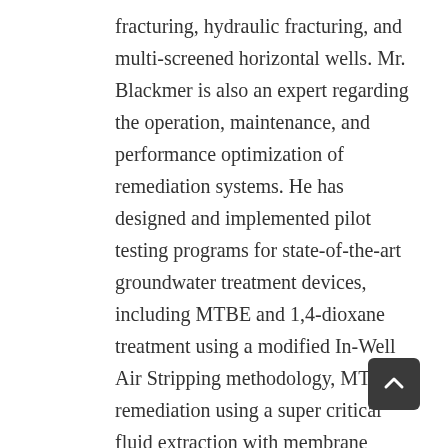fracturing, hydraulic fracturing, and multi-screened horizontal wells. Mr. Blackmer is also an expert regarding the operation, maintenance, and performance optimization of remediation systems. He has designed and implemented pilot testing programs for state-of-the-art groundwater treatment devices, including MTBE and 1,4-dioxane treatment using a modified In-Well Air Stripping methodology, MTBE remediation using a super critical fluid extraction with membrane structures and liquid carbon dioxide and perchlorate and nitrate treatment using a biological approach with an anoxic